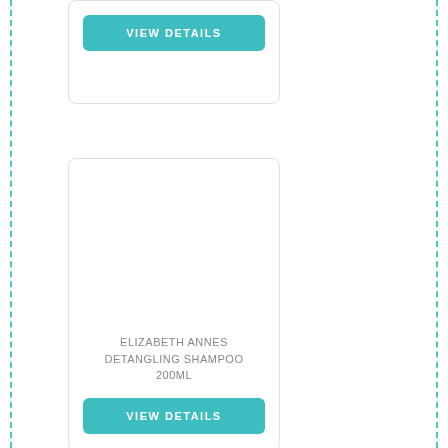[Figure (screenshot): Product card with VIEW DETAILS button, partially cropped at top]
ELIZABETH ANNES DETANGLING SHAMPOO 200ML
[Figure (screenshot): VIEW DETAILS button for Elizabeth Annes Detangling Shampoo 200ML product card]